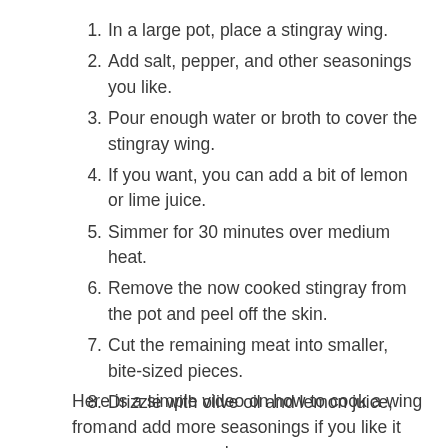In a large pot, place a stingray wing.
Add salt, pepper, and other seasonings you like.
Pour enough water or broth to cover the stingray wing.
If you want, you can add a bit of lemon or lime juice.
Simmer for 30 minutes over medium heat.
Remove the now cooked stingray from the pot and peel off the skin.
Cut the remaining meat into smaller, bite-sized pieces.
Drizzle with olive oil and lemon juice, and add more seasonings if you like it more seasoned.
Here is a simple video on how to cook a wing from